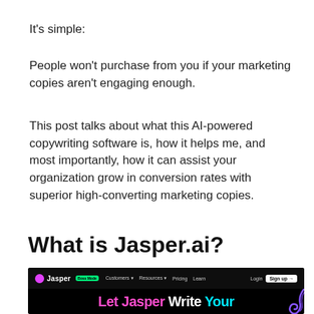It's simple:
People won't purchase from you if your marketing copies aren't engaging enough.
This post talks about what this AI-powered copywriting software is, how it helps me, and most importantly, how it can assist your organization grow in conversion rates with superior high-converting marketing copies.
What is Jasper.ai?
[Figure (screenshot): Screenshot of Jasper.ai website showing the navigation bar with Jasper logo, Boss Mode badge, Customers, Resources, Pricing, Learn menu items, Login and Sign up buttons on a dark background, with hero text 'Let Jasper Write Your' in pink and white at the bottom]